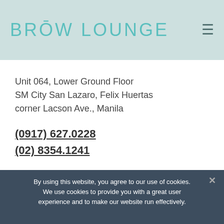BROW LOUNGE
Unit 064, Lower Ground Floor
SM City San Lazaro, Felix Huertas corner Lacson Ave., Manila
(0917) 627.0228
(02) 8354.1241
SM CITY STA. MESA
By using this website, you agree to our use of cookies. We use cookies to provide you with a great user experience and to make our website run effectively.